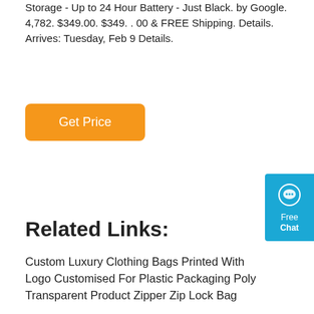Storage - Up to 24 Hour Battery - Just Black. by Google. 4,782. $349.00. $349. . 00 & FREE Shipping. Details. Arrives: Tuesday, Feb 9 Details.
[Figure (other): Orange 'Get Price' button]
[Figure (other): Blue Free Chat widget on right side]
Related Links:
Custom Luxury Clothing Bags Printed With Logo Customised For Plastic Packaging Poly Transparent Product Zipper Zip Lock Bag
Travel Makeup Bags Cosmetics With Compartments Neceser Portable Custom Cosmetic Bags
Starry Sky City Custom Wholesale Zipper Shopping Tote Canvas Cotton Bag Ladies Handbag
Tie Dye Grocery Mesh Bags String Shopping Bags Produce Net Bags With Long Handle For Fruit Vegetable